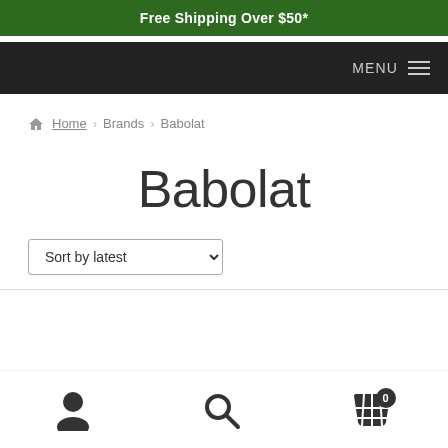Free Shipping Over $50*
MENU
Home > Brands > Babolat
Babolat
Sort by latest